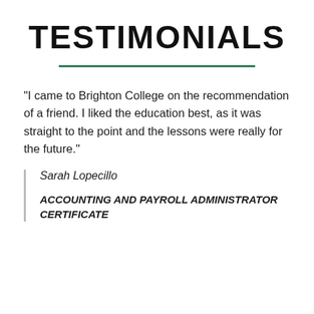TESTIMONIALS
"I came to Brighton College on the recommendation of a friend. I liked the education best, as it was straight to the point and the lessons were really for the future."
Sarah Lopecillo
ACCOUNTING AND PAYROLL ADMINISTRATOR CERTIFICATE